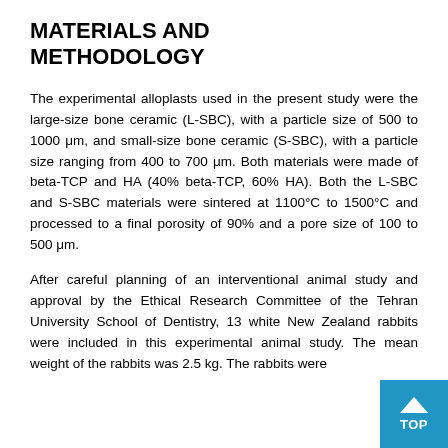MATERIALS AND METHODOLOGY
The experimental alloplasts used in the present study were the large-size bone ceramic (L-SBC), with a particle size of 500 to 1000 μm, and small-size bone ceramic (S-SBC), with a particle size ranging from 400 to 700 μm. Both materials were made of beta-TCP and HA (40% beta-TCP, 60% HA). Both the L-SBC and S-SBC materials were sintered at 1100°C to 1500°C and processed to a final porosity of 90% and a pore size of 100 to 500 μm.
After careful planning of an interventional animal study and approval by the Ethical Research Committee of the Tehran University School of Dentistry, 13 white New Zealand rabbits were included in this experimental animal study. The mean weight of the rabbits was 2.5 kg. The rabbits were